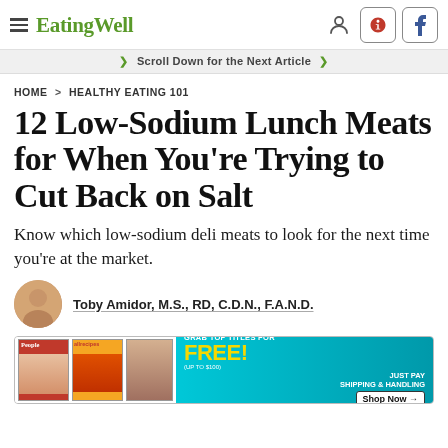EatingWell
Scroll Down for the Next Article
HOME > HEALTHY EATING 101
12 Low-Sodium Lunch Meats for When You're Trying to Cut Back on Salt
Know which low-sodium deli meats to look for the next time you're at the market.
Toby Amidor, M.S., RD, C.D.N., F.A.N.D.
[Figure (screenshot): Advertisement banner for free magazine subscriptions: People, allrecipes. Text reads 'GRAB TOP TITLES FOR FREE! (UP TO $100) JUST PAY SHIPPING & HANDLING Shop Now →']